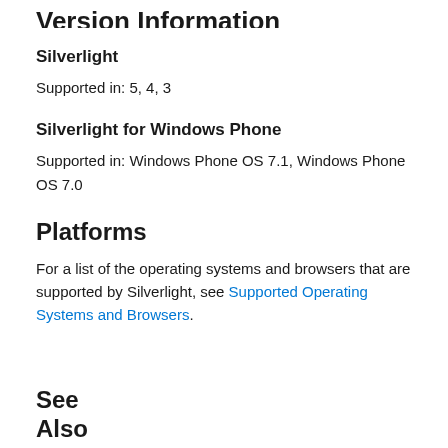Version Information
Silverlight
Supported in: 5, 4, 3
Silverlight for Windows Phone
Supported in: Windows Phone OS 7.1, Windows Phone OS 7.0
Platforms
For a list of the operating systems and browsers that are supported by Silverlight, see Supported Operating Systems and Browsers.
See Also